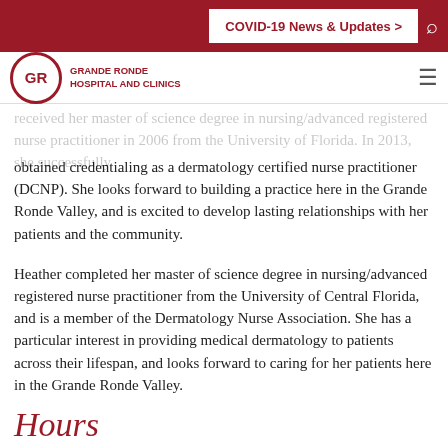COVID-19 News & Updates >
received her master of science degree in nursing/advanced registered nurse practitioner in 2006 from the University of Florida. In 2013, she successfully obtained credentialing as a dermatology certified nurse practitioner (DCNP). She looks forward to building a practice here in the Grande Ronde Valley, and is excited to develop lasting relationships with her patients and the community.
Heather completed her master of science degree in nursing/advanced registered nurse practitioner from the University of Central Florida, and is a member of the Dermatology Nurse Association. She has a particular interest in providing medical dermatology to patients across their lifespan, and looks forward to caring for her patients here in the Grande Ronde Valley.
Hours